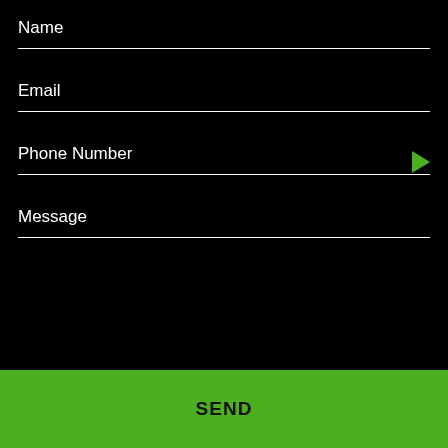Name
Email
Phone Number
Message
SEND